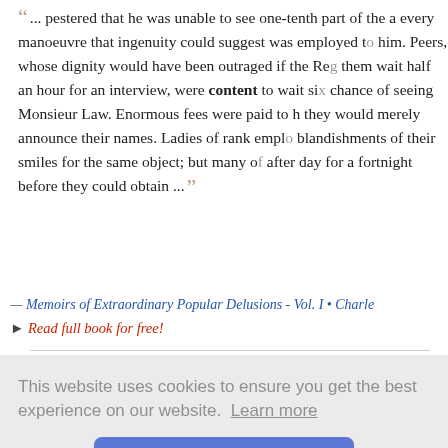" ... pestered that he was unable to see one-tenth part of the a every manoeuvre that ingenuity could suggest was employed to him. Peers, whose dignity would have been outraged if the Reg them wait half an hour for an interview, were content to wait six chance of seeing Monsieur Law. Enormous fees were paid to h they would merely announce their names. Ladies of rank empl blandishments of their smiles for the same object; but many of after day for a fortnight before they could obtain ... "
— Memoirs of Extraordinary Popular Delusions - Vol. I • Charle
▸ Read full book for free!
" ... watchful in your Emperor's service. I am content with you Colonel. [To BUTLER. Release the outposts in the vale of Joch or, in your
oleridge -
This website uses cookies to ensure you get the best experience on our website. Learn more
Got it!
" ... and the rest, idols one after another of a somewhat artific